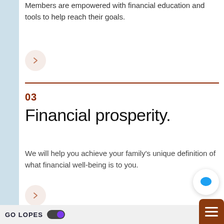Members are empowered with financial education and tools to help reach their goals.
[Figure (other): Arrow button circle with right-pointing arrow (section 02 link)]
03
Financial prosperity.
We will help you achieve your family's unique definition of what financial well-being is to you.
[Figure (other): Arrow button circle with right-pointing arrow (section 03 link)]
[Figure (other): Blue chat bubble icon button]
GO LOPES
[Figure (other): Hamburger menu button (brown/orange rounded square)]